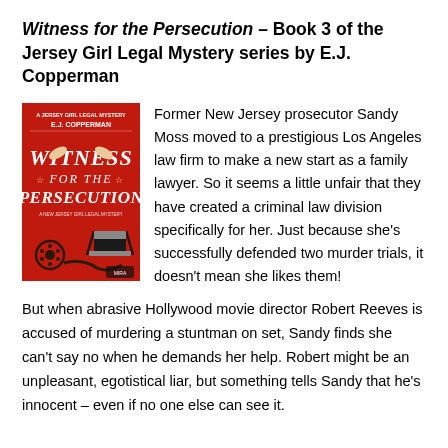Witness for the Persecution – Book 3 of the Jersey Girl Legal Mystery series by E.J. Copperman
[Figure (illustration): Book cover of 'Witness for the Persecution' by E.J. Copperman. Red background with stylized white text for the title, showing a director's chair and film reel at the bottom, and hands at the top.]
Former New Jersey prosecutor Sandy Moss moved to a prestigious Los Angeles law firm to make a new start as a family lawyer. So it seems a little unfair that they have created a criminal law division specifically for her. Just because she's successfully defended two murder trials, it doesn't mean she likes them!
But when abrasive Hollywood movie director Robert Reeves is accused of murdering a stuntman on set, Sandy finds she can't say no when he demands her help. Robert might be an unpleasant, egotistical liar, but something tells Sandy that he's innocent – even if no one else can see it.